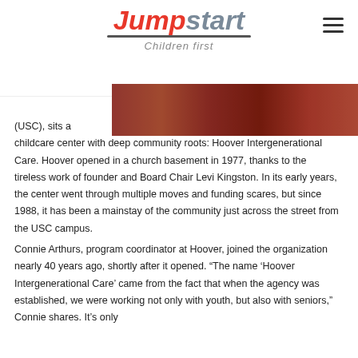Jumpstart Children first
[Figure (photo): Partial photo of children, cropped at top right of page]
(USC), sits a childcare center with deep community roots: Hoover Intergenerational Care. Hoover opened in a church basement in 1977, thanks to the tireless work of founder and Board Chair Levi Kingston. In its early years, the center went through multiple moves and funding scares, but since 1988, it has been a mainstay of the community just across the street from the USC campus.
Connie Arthurs, program coordinator at Hoover, joined the organization nearly 40 years ago, shortly after it opened. “The name ‘Hoover Intergenerational Care’ came from the fact that when the agency was established, we were working not only with youth, but also with seniors,” Connie shares. It’s only